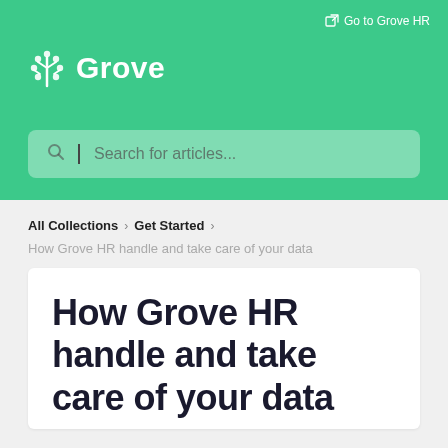[Figure (logo): Grove HR logo with tree/flower icon and 'Grove' text in white on green background]
Go to Grove HR
Search for articles...
All Collections > Get Started >
How Grove HR handle and take care of your data
How Grove HR handle and take care of your data